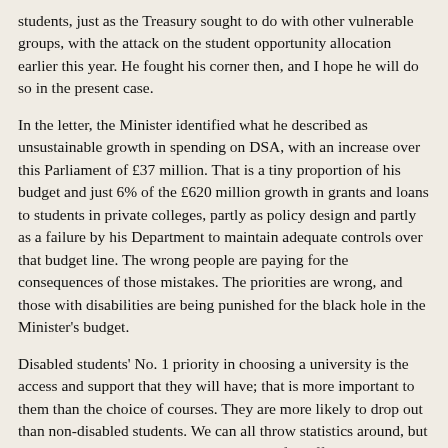students, just as the Treasury sought to do with other vulnerable groups, with the attack on the student opportunity allocation earlier this year. He fought his corner then, and I hope he will do so in the present case.
In the letter, the Minister identified what he described as unsustainable growth in spending on DSA, with an increase over this Parliament of £37 million. That is a tiny proportion of his budget and just 6% of the £620 million growth in grants and loans to students in private colleges, partly as policy design and partly as a failure by his Department to maintain adequate controls over that budget line. The wrong people are paying for the consequences of those mistakes. The priorities are wrong, and those with disabilities are being punished for the black hole in the Minister's budget.
Disabled students' No. 1 priority in choosing a university is the access and support that they will have; that is more important to them than the choice of courses. They are more likely to drop out than non-disabled students. We can all throw statistics around, but I want to share a story about a university of Sheffield student union officer, Kat Chapman. She is dyslexic and recently finished her degree, with a high 2:1. She is delighted to be embarking on a master's degree at Cambridge. She is the model for the sort of person we want to progress in universities: a woman and a scientist. She clearly said to me that her delight at going to